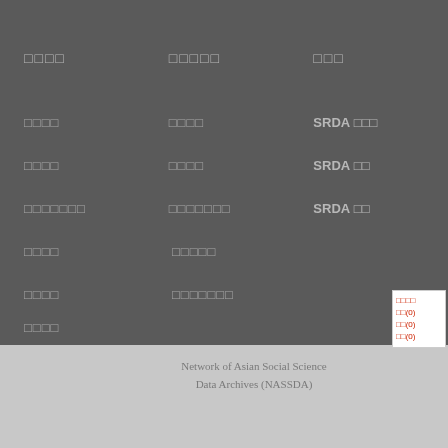□□□□  □□□□□  □□□
□□□□  □□□□  SRDA □□□
□□□□  □□□□  SRDA □□
□□□□□□□  □□□□□□□  SRDA □□
□□□□  □□□□□
□□□□  □□□□□□□
□□□□
[Figure (logo): NASSDA logo with CJK text and binary-style pattern]
Network of Asian Social Science Data Archives (NASSDA)